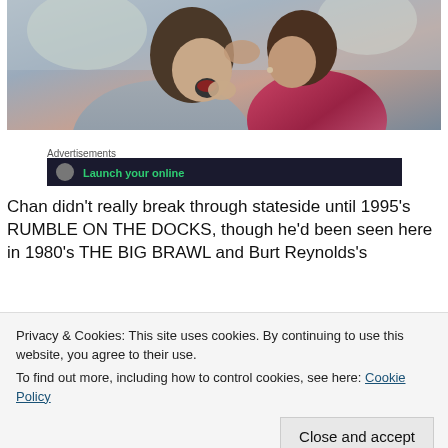[Figure (photo): Two people in an intimate scene, one appears to be kissing or whispering to the other who has mouth open, outdoor setting]
Advertisements
[Figure (screenshot): Advertisement banner with dark background and green text reading 'Launch your online']
Chan didn't really break through stateside until 1995's RUMBLE ON THE DOCKS, though he'd been seen here in 1980's THE BIG BRAWL and Burt Reynolds's
Privacy & Cookies: This site uses cookies. By continuing to use this website, you agree to their use.
To find out more, including how to control cookies, see here: Cookie Policy
film for director Yuen Woo-ping, who also made SNAKE